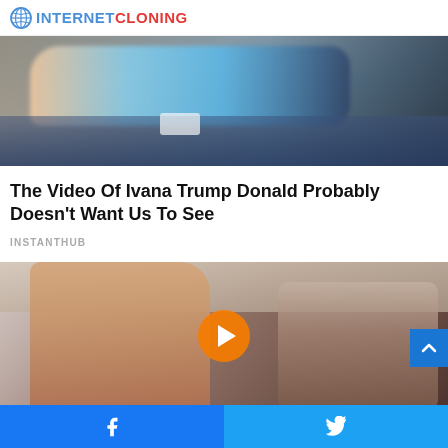INTERNET CLONING
[Figure (photo): Blurry photo of a person lying on a bed, wearing light blue/teal clothing, with blue bedding visible]
The Video Of Ivana Trump Donald Probably Doesn't Want Us To See
INSTANTHUB
[Figure (photo): Photo of two people in a bedroom setting with a tufted headboard, with a YouTube play button overlay in the center]
Facebook share | Twitter share